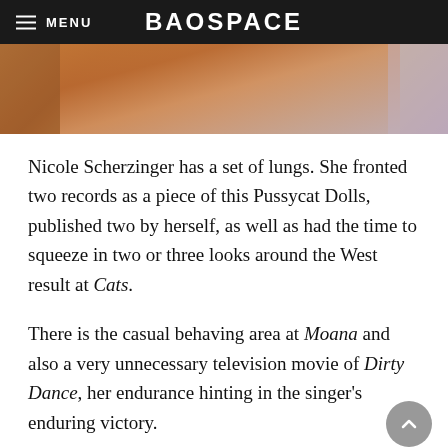BAOSPACE
[Figure (photo): Partial image of a person wearing a leopard print outfit, warm orange/brown tones, cropped at top of page]
Nicole Scherzinger has a set of lungs. She fronted two records as a piece of this Pussycat Dolls, published two by herself, as well as had the time to squeeze in two or three looks around the West result at Cats.
There is the casual behaving area at Moana and also a very unnecessary television movie of Dirty Dance, her endurance hinting in the singer's enduring victory.